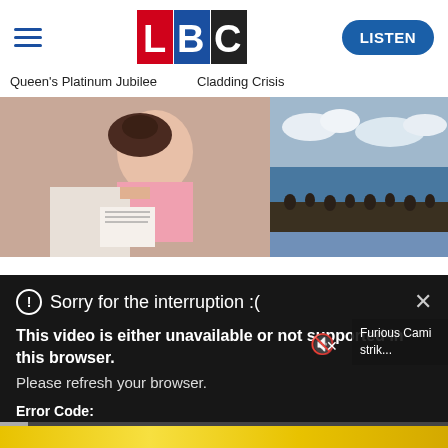[Figure (logo): LBC radio logo with L in red, B in blue, C in dark/black squares]
LISTEN
Queen's Platinum Jubilee    Cladding Crisis
[Figure (photo): Woman in pink top looking stressed reading a document, hand on head]
[Figure (photo): Aerial photo of people in water or coast scene with cloudy sky]
Sorry for the interruption :(
This video is either unavailable or not supported in this browser.
Please refresh your browser.
Error Code:
MEDIA_ERR_SRC_NOT_SUPPORTED
Furious Cami strik...